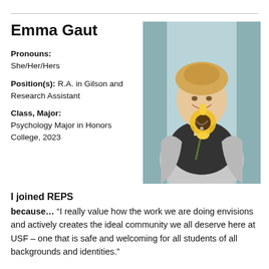Emma Gaut
Pronouns: She/Her/Hers
Position(s): R.A. in Gilson and Research Assistant
Class, Major: Psychology Major in Honors College, 2023
[Figure (photo): Young woman with blonde hair holding a sunflower, smiling, wearing a black shirt and grey cardigan, standing in front of a teal/glass background.]
I joined REPS
because… "I really value how the work we are doing envisions and actively creates the ideal community we all deserve here at USF – one that is safe and welcoming for all students of all backgrounds and identities."